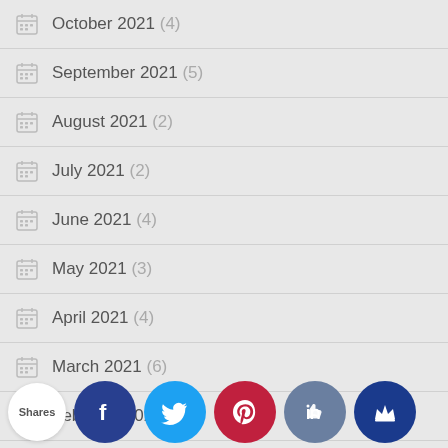October 2021 (4)
September 2021 (5)
August 2021 (2)
July 2021 (2)
June 2021 (4)
May 2021 (3)
April 2021 (4)
March 2021 (6)
February 2021 (4)
January 2021 (...)